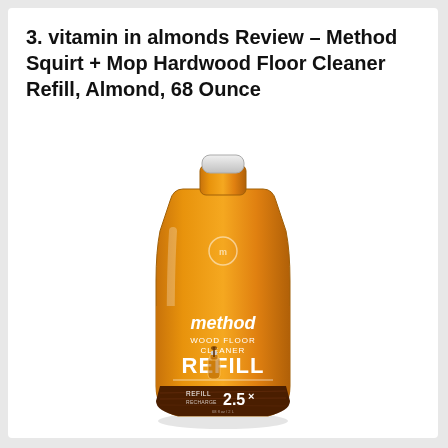3. vitamin in almonds Review – Method Squirt + Mop Hardwood Floor Cleaner Refill, Almond, 68 Ounce
[Figure (photo): A large amber/orange translucent plastic bottle of Method Wood Floor Cleaner Refill with a white cap. Label reads: method WOOD FLOOR CLEANER REFILL with a smaller bottle graphic showing REFILL 2.5X. Product is almond scented, 68 ounce.]